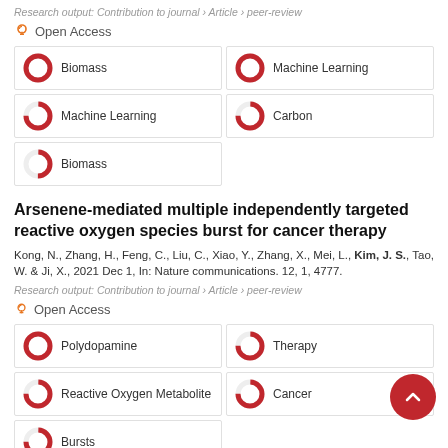Research output: Contribution to journal › Article › peer-review
Open Access
[Figure (infographic): Keyword badges with donut chart percentage icons: Biomass 100%, Machine Learning 100%, Machine Learning 75%, Carbon 75%, Biomass 50%]
Arsenene-mediated multiple independently targeted reactive oxygen species burst for cancer therapy
Kong, N., Zhang, H., Feng, C., Liu, C., Xiao, Y., Zhang, X., Mei, L., Kim, J. S., Tao, W. & Ji, X., 2021 Dec 1, In: Nature communications. 12, 1, 4777.
Research output: Contribution to journal › Article › peer-review
Open Access
[Figure (infographic): Keyword badges with donut chart percentage icons: Polydopamine 100%, Therapy 75%, Reactive Oxygen Metabolite 75%, Cancer 75%, Bursts 75%]